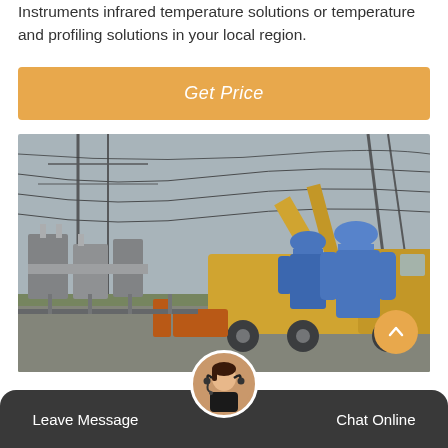Instruments infrared temperature solutions or temperature and profiling solutions in your local region.
Get Price
[Figure (photo): Two workers in blue hard hats and blue overalls standing near a yellow utility truck at an electrical substation with power lines and equipment in the background.]
Leave Message
Chat Online